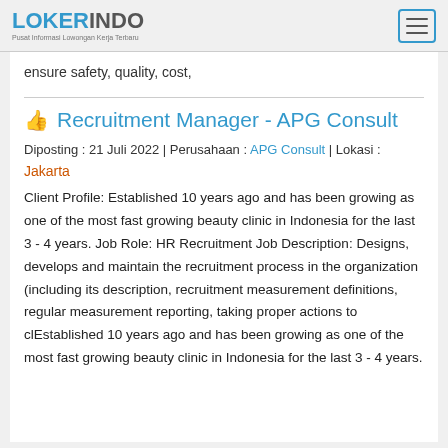LOKERINDO - Pusat Informasi Lowongan Kerja Terbaru
ensure safety, quality, cost,
Recruitment Manager - APG Consult
Diposting : 21 Juli 2022 | Perusahaan : APG Consult | Lokasi : Jakarta
Client Profile: Established 10 years ago and has been growing as one of the most fast growing beauty clinic in Indonesia for the last 3 - 4 years. Job Role: HR Recruitment Job Description: Designs, develops and maintain the recruitment process in the organization (including its description, recruitment measurement definitions, regular measurement reporting, taking proper actions to clEstablished 10 years ago and has been growing as one of the most fast growing beauty clinic in Indonesia for the last 3 - 4 years.